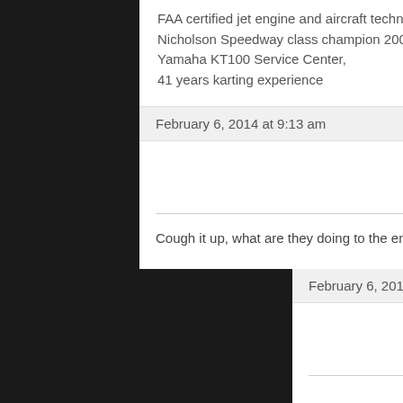FAA certified jet engine and aircraft technician,
Nicholson Speedway class champion 2001,
Yamaha KT100 Service Center,
41 years karting experience
February 6, 2014 at 9:13 am   #21062
Jim Silverheels
Participant
Cough it up, what are they doing to the engines for pipe?
February 6, 2014 at 11:16 am   #21065
Jim Gerard
Participant
Are we only talking a tenth or